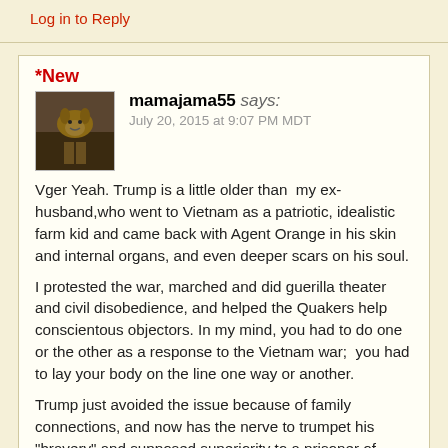Log in to Reply
*New
mamajama55 says:
July 20, 2015 at 9:07 PM MDT
Vger Yeah. Trump is a little older than my ex-husband,who went to Vietnam as a patriotic, idealistic farm kid and came back with Agent Orange in his skin and internal organs, and even deeper scars on his soul.
I protested the war, marched and did guerilla theater and civil disobedience, and helped the Quakers help conscientous objectors. In my mind, you had to do one or the other as a response to the Vietnam war;  you had to lay your body on the line one way or another.
Trump just avoided the issue because of family connections, and now has the nerve to trumpet his "bravery" and supposed superiority to a prisoner of war…the phrase "the banality of evil" comes to mind.